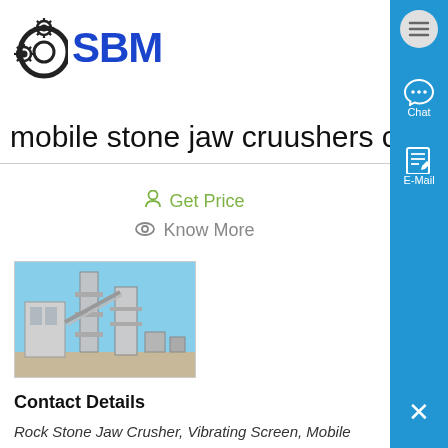SBM
mobile stone jaw cruushers chin
Get Price
Know More
[Figure (photo): Industrial stone jaw crusher / mobile crusher machinery outdoors]
Contact Details
Rock Stone Jaw Crusher, Vibrating Screen, Mobile Crusher manufacturer / supplier in China, offering